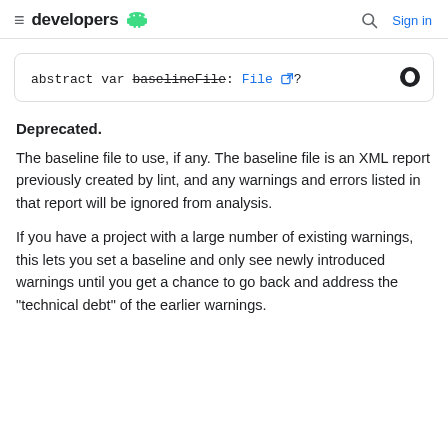≡ developers [android] Q Sign in
abstract var baselineFile: File?
Deprecated.
The baseline file to use, if any. The baseline file is an XML report previously created by lint, and any warnings and errors listed in that report will be ignored from analysis.
If you have a project with a large number of existing warnings, this lets you set a baseline and only see newly introduced warnings until you get a chance to go back and address the "technical debt" of the earlier warnings.